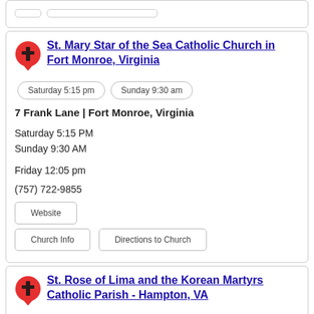St. Mary Star of the Sea Catholic Church in Fort Monroe, Virginia
Saturday 5:15 pm
Sunday 9:30 am
7 Frank Lane | Fort Monroe, Virginia
Saturday 5:15 PM
Sunday 9:30 AM
Friday 12:05 pm
(757) 722-9855
Website
Church Info
Directions to Church
St. Rose of Lima and the Korean Martyrs Catholic Parish - Hampton, VA